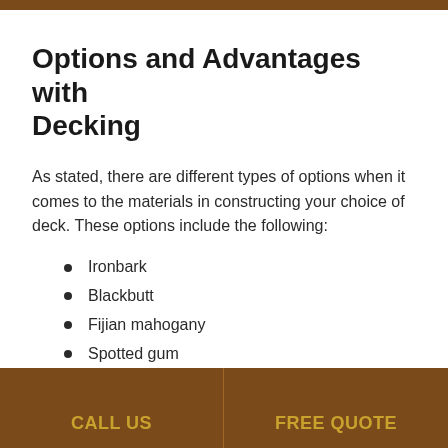Options and Advantages with Decking
As stated, there are different types of options when it comes to the materials in constructing your choice of deck. These options include the following:
Ironbark
Blackbutt
Fijian mahogany
Spotted gum
Treated pine
Merbau
CALL US   FREE QUOTE